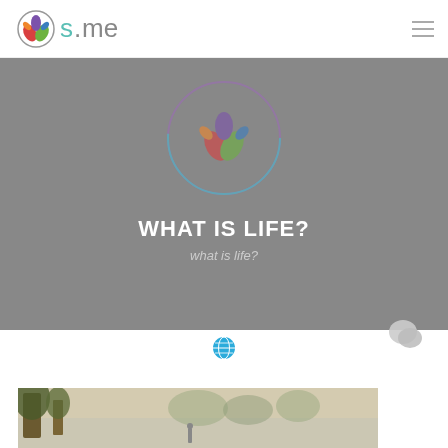[Figure (logo): s.me website logo with colorful flower/leaf icon and 's.me' text in teal/purple]
[Figure (screenshot): Hero banner with gray background, colorful circular logo watermark, bold white text WHAT IS LIFE? and italic gray subtitle 'what is life?', globe icon and chat icon]
WHAT IS LIFE?
what is life?
[Figure (photo): Nature landscape photo showing trees, lake and misty forest background]